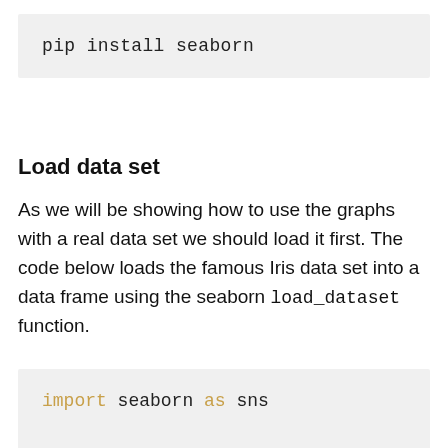pip install seaborn
Load data set
As we will be showing how to use the graphs with a real data set we should load it first. The code below loads the famous Iris data set into a data frame using the seaborn load_dataset function.
import seaborn as sns